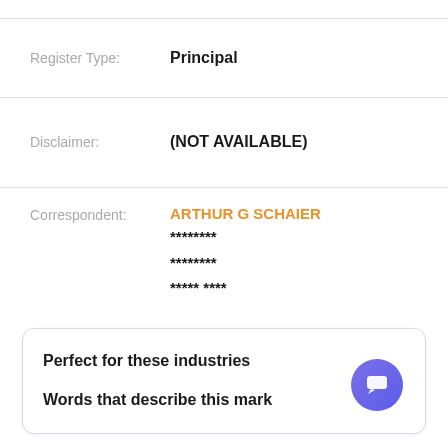Register Type: Principal
Disclaimer: (NOT AVAILABLE)
Correspondent: ARTHUR G SCHAIER ******** ******** ***** ****
Perfect for these industries
Words that describe this mark